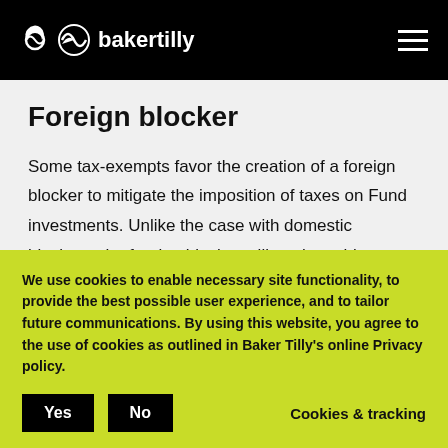bakertilly
Foreign blocker
Some tax-exempts favor the creation of a foreign blocker to mitigate the imposition of taxes on Fund investments. Unlike the case with domestic blockers, the foreign blocker will not be subject to U.S. tax on the distribution from the Fund, due to
We use cookies to enable necessary site functionality, to provide the best possible user experience, and to tailor future communications. By using this website, you agree to the use of cookies as outlined in Baker Tilly's online Privacy policy.
Yes  No  Cookies & tracking